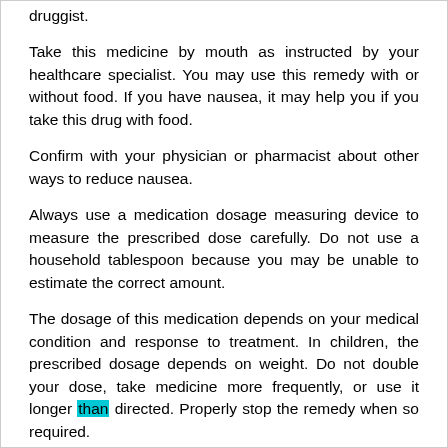druggist.
Take this medicine by mouth as instructed by your healthcare specialist. You may use this remedy with or without food. If you have nausea, it may help you if you take this drug with food.
Confirm with your physician or pharmacist about other ways to reduce nausea.
Always use a medication dosage measuring device to measure the prescribed dose carefully. Do not use a household tablespoon because you may be unable to estimate the correct amount.
The dosage of this medication depends on your medical condition and response to treatment. In children, the prescribed dosage depends on weight. Do not double your dose, take medicine more frequently, or use it longer than directed. Properly stop the remedy when so required.